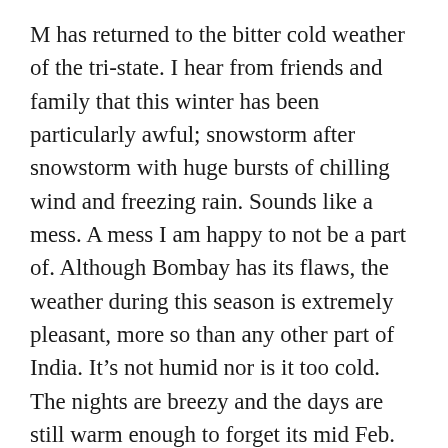M has returned to the bitter cold weather of the tri-state. I hear from friends and family that this winter has been particularly awful; snowstorm after snowstorm with huge bursts of chilling wind and freezing rain. Sounds like a mess. A mess I am happy to not be a part of. Although Bombay has its flaws, the weather during this season is extremely pleasant, more so than any other part of India. It’s not humid nor is it too cold. The nights are breezy and the days are still warm enough to forget its mid Feb. There are quite a few people from the States visiting Bombay this time of year, many of whom I’ve met up with for a casual evening out. It’s nice because it lessens the pangs of